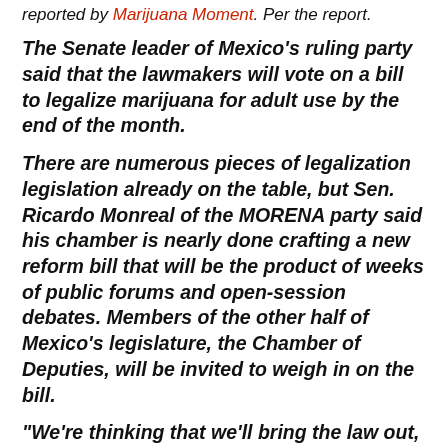reported by Marijuana Moment. Per the report.
The Senate leader of Mexico's ruling party said that the lawmakers will vote on a bill to legalize marijuana for adult use by the end of the month.
There are numerous pieces of legalization legislation already on the table, but Sen. Ricardo Monreal of the MORENA party said his chamber is nearly done crafting a new reform bill that will be the product of weeks of public forums and open-session debates. Members of the other half of Mexico's legislature, the Chamber of Deputies, will be invited to weigh in on the bill.
“We’re thinking that we’ll bring the law out, approve it, at the end of October,” Monreal said. “That’s the